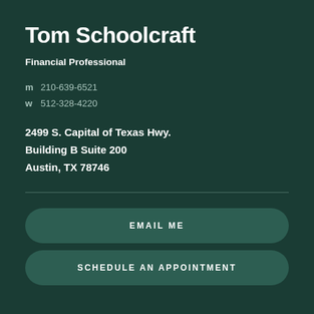Tom Schoolcraft
Financial Professional
m  210-639-6521
w  512-328-4220
2499 S. Capital of Texas Hwy.
Building B Suite 200
Austin, TX 78746
EMAIL ME
SCHEDULE AN APPOINTMENT